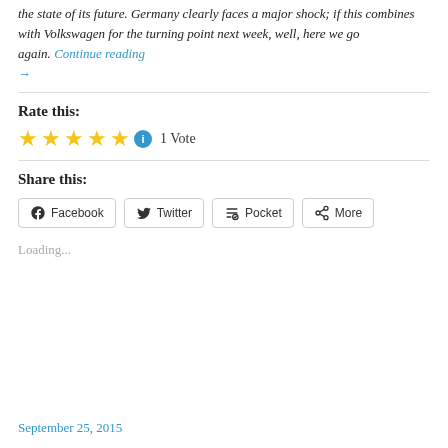the state of its future. Germany clearly faces a major shock; if this combines with Volkswagen for the turning point next week, well, here we go again. Continue reading →
Rate this:
★★★★★ ℹ 1 Vote
Share this:
Facebook  Twitter  Pocket  More
Loading...
September 25, 2015